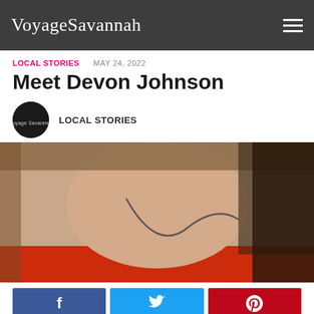VoyageSavannah
LOCAL STORIES   MAY 24, 2022
Meet Devon Johnson
LOCAL STORIES
[Figure (photo): Close-up photo of a person wearing a red top and a dark necklace, neck and chest area visible]
Facebook share button, Twitter share button, Pinterest share button